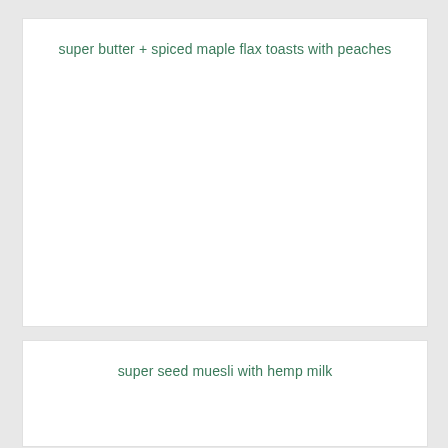super butter + spiced maple flax toasts with peaches
super seed muesli with hemp milk